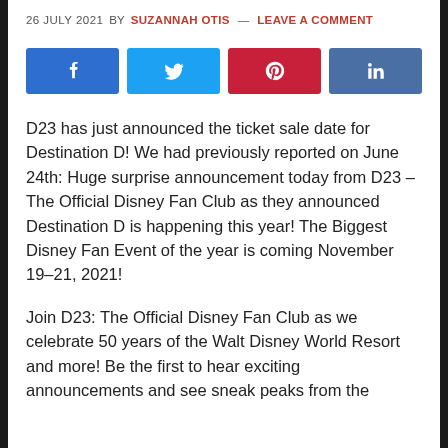26 JULY 2021 BY SUZANNAH OTIS — LEAVE A COMMENT
[Figure (infographic): Four social share buttons: Facebook (blue), Twitter (light blue), Pinterest (red), LinkedIn (steel blue), each with respective icon]
D23 has just announced the ticket sale date for Destination D! We had previously reported on June 24th: Huge surprise announcement today from D23 – The Official Disney Fan Club as they announced Destination D is happening this year! The Biggest Disney Fan Event of the year is coming November 19–21, 2021!
Join D23: The Official Disney Fan Club as we celebrate 50 years of the Walt Disney World Resort and more! Be the first to hear exciting announcements and see sneak peaks from the